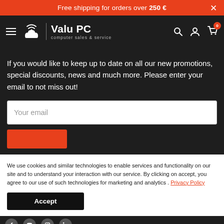Free shipping for orders over 250 €
[Figure (logo): Valu PC logo with cloud/WiFi icon and text 'computer sales & service']
If you would like to keep up to date on all our new promotions, special discounts, news and much more. Please enter your email to not miss out!
Your email
We use cookies and similar technologies to enable services and functionality on our site and to understand your interaction with our service. By clicking on accept, you agree to our use of such technologies for marketing and analytics . Privacy Policy
Accept